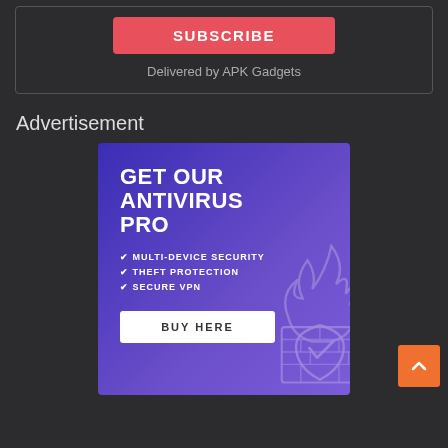[Figure (screenshot): Subscribe button (red/pink) with text SUBSCRIBE]
Delivered by APK Gadgets
Advertisement
[Figure (infographic): Antivirus Pro advertisement banner with purple gradient background. Text: GET OUR ANTIVIRUS PRO. Features: MULTI-DEVICE SECURITY, THEFT PROTECTION, SECURE VPN. Button: BUY HERE. Graphic: shield and firewall with flame.]